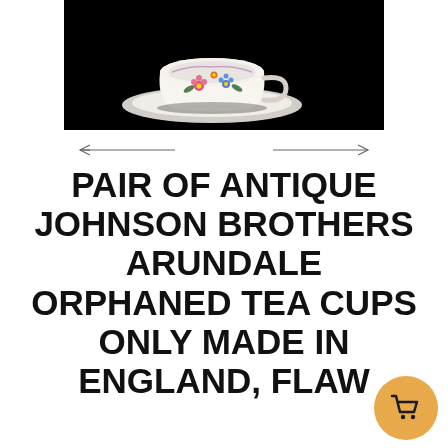[Figure (photo): Photo of a white porcelain teacup with floral decoration (flowers in pink, blue, orange) on a black background, viewed from above/side angle showing the cup and saucer.]
PAIR OF ANTIQUE JOHNSON BROTHERS ARUNDALE ORPHANED TEA CUPS ONLY MADE IN ENGLAND, FLAW